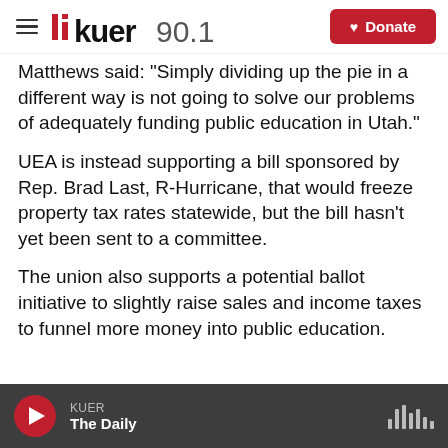KUER 90.1 | Donate
Matthews said: "Simply dividing up the pie in a different way is not going to solve our problems of adequately funding public education in Utah."
UEA is instead supporting a bill sponsored by Rep. Brad Last, R-Hurricane, that would freeze property tax rates statewide, but the bill hasn't yet been sent to a committee.
The union also supports a potential ballot initiative to slightly raise sales and income taxes to funnel more money into public education.
KUER | The Daily